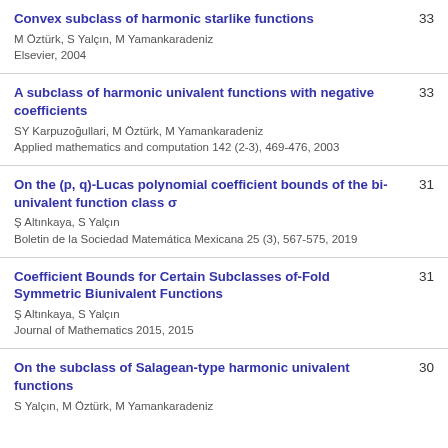Convex subclass of harmonic starlike functions
M Öztürk, S Yalçın, M Yamankaradeniz
Elsevier, 2004
33
A subclass of harmonic univalent functions with negative coefficients
SY Karpuzoğullari, M Öztürk, M Yamankaradeniz
Applied mathematics and computation 142 (2-3), 469-476, 2003
33
On the (p, q)-Lucas polynomial coefficient bounds of the bi-univalent function class σ
Ş Altınkaya, S Yalçın
Boletin de la Sociedad Matemática Mexicana 25 (3), 567-575, 2019
31
Coefficient Bounds for Certain Subclasses of-Fold Symmetric Biunivalent Functions
Ş Altınkaya, S Yalçın
Journal of Mathematics 2015, 2015
31
On the subclass of Salagean-type harmonic univalent functions
S Yalçın, M Öztürk, M Yamankaradeniz
30